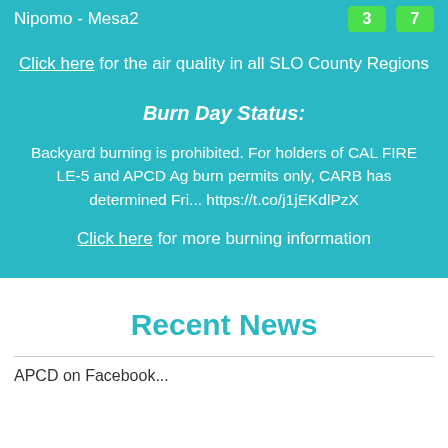Nipomo - Mesa2  3  7
Click here for the air quality in all SLO County Regions
Burn Day Status:
Backyard burning is prohibited. For holders of CAL FIRE LE-5 and APCD Ag burn permits only, CARB has determined Fri... https://t.co/j1jEKdlPzX
Click here for more burning information
Recent News
APCD on Facebook...